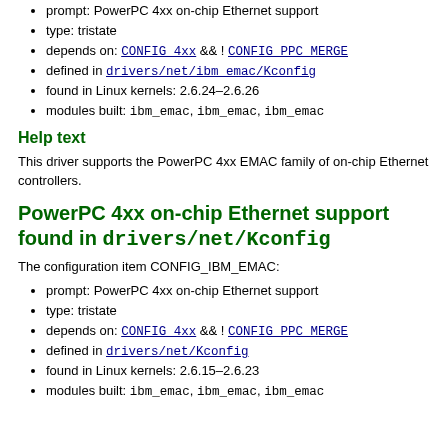prompt: PowerPC 4xx on-chip Ethernet support
type: tristate
depends on: CONFIG_4xx && ! CONFIG_PPC_MERGE
defined in drivers/net/ibm_emac/Kconfig
found in Linux kernels: 2.6.24–2.6.26
modules built: ibm_emac, ibm_emac, ibm_emac
Help text
This driver supports the PowerPC 4xx EMAC family of on-chip Ethernet controllers.
PowerPC 4xx on-chip Ethernet support found in drivers/net/Kconfig
The configuration item CONFIG_IBM_EMAC:
prompt: PowerPC 4xx on-chip Ethernet support
type: tristate
depends on: CONFIG_4xx && ! CONFIG_PPC_MERGE
defined in drivers/net/Kconfig
found in Linux kernels: 2.6.15–2.6.23
modules built: ibm_emac, ibm_emac, ibm_emac